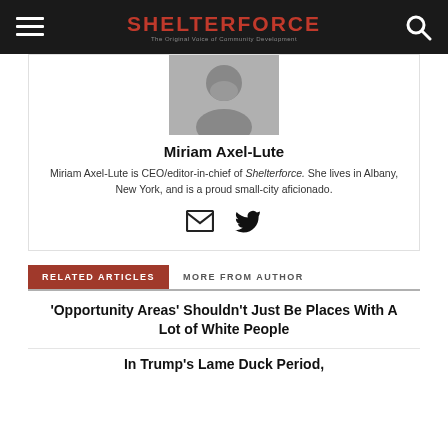SHELTERFORCE — The Original Voice of Community Development
[Figure (photo): Author profile photo of Miriam Axel-Lute]
Miriam Axel-Lute
Miriam Axel-Lute is CEO/editor-in-chief of Shelterforce. She lives in Albany, New York, and is a proud small-city aficionado.
[Figure (illustration): Email and Twitter social media icons]
RELATED ARTICLES   MORE FROM AUTHOR
‘Opportunity Areas’ Shouldn’t Just Be Places With A Lot of White People
In Trump’s Lame Duck Period,